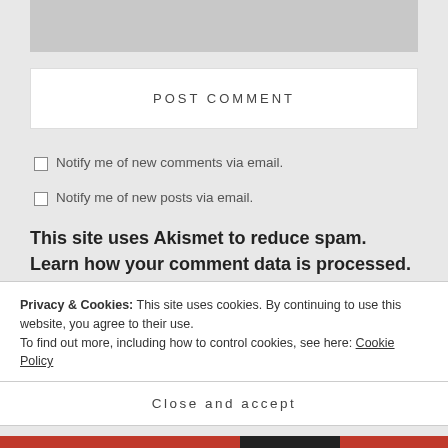[Figure (other): Gray image placeholder at top of page]
POST COMMENT
Notify me of new comments via email.
Notify me of new posts via email.
This site uses Akismet to reduce spam. Learn how your comment data is processed.
Privacy & Cookies: This site uses cookies. By continuing to use this website, you agree to their use.
To find out more, including how to control cookies, see here: Cookie Policy
Close and accept